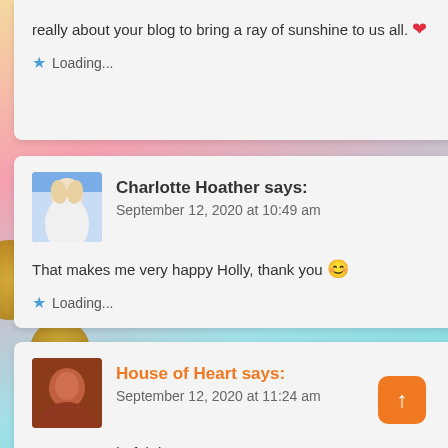really about your blog to bring a ray of sunshine to us all. ❤
★ Loading...
Charlotte Hoather says: September 12, 2020 at 10:49 am
That makes me very happy Holly, thank you 😊
★ Loading...
House of Heart says: September 12, 2020 at 11:24 am
Have a wonderful day!